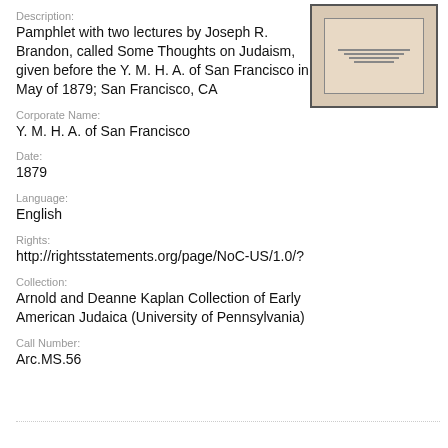Description:
Pamphlet with two lectures by Joseph R. Brandon, called Some Thoughts on Judaism, given before the Y. M. H. A. of San Francisco in May of 1879; San Francisco, CA
[Figure (photo): Thumbnail image of a pamphlet cover with text on a beige/tan background]
Corporate Name:
Y. M. H. A. of San Francisco
Date:
1879
Language:
English
Rights:
http://rightsstatements.org/page/NoC-US/1.0/?
Collection:
Arnold and Deanne Kaplan Collection of Early American Judaica (University of Pennsylvania)
Call Number:
Arc.MS.56